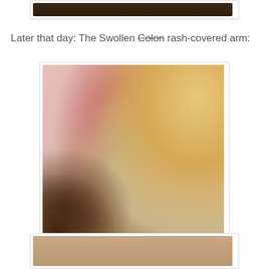[Figure (photo): Partial view of a photo at the top of the page, showing a dark-toned image (bottom portion only visible)]
Later that day: The Swollen Colon rash-covered arm:
[Figure (photo): A swollen, rash-covered arm photograph. The arm appears pink/red and swollen, shown from elbow to upper arm, with reddish discoloration indicating inflammation or rash. Background shows a wall and brown fabric. Some dark hair visible on left side.]
[Figure (photo): Partial view of another photo at the bottom of the page]